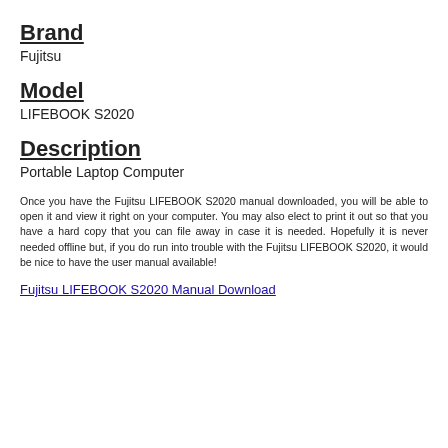Brand
Fujitsu
Model
LIFEBOOK S2020
Description
Portable Laptop Computer
Once you have the Fujitsu LIFEBOOK S2020 manual downloaded, you will be able to open it and view it right on your computer. You may also elect to print it out so that you have a hard copy that you can file away in case it is needed. Hopefully it is never needed offline but, if you do run into trouble with the Fujitsu LIFEBOOK S2020, it would be nice to have the user manual available!
Fujitsu LIFEBOOK S2020 Manual Download